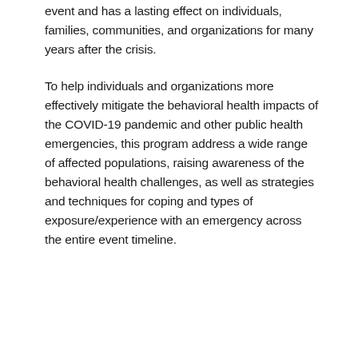event and has a lasting effect on individuals, families, communities, and organizations for many years after the crisis.
To help individuals and organizations more effectively mitigate the behavioral health impacts of the COVID-19 pandemic and other public health emergencies, this program address a wide range of affected populations, raising awareness of the behavioral health challenges, as well as strategies and techniques for coping and types of exposure/experience with an emergency across the entire event timeline.